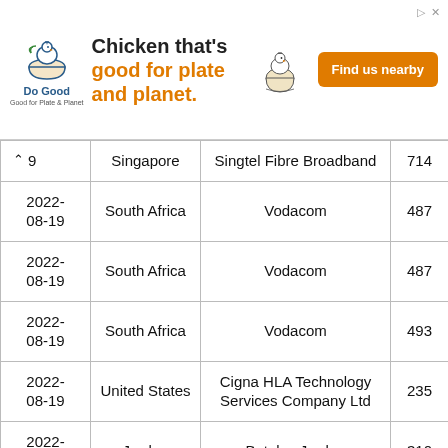[Figure (other): Advertisement banner for 'Do Good' chicken brand. Text: 'Chicken that's good for plate and planet.' with an orange 'Find us nearby' button.]
| Date | Country | Provider | Score |
| --- | --- | --- | --- |
| 9 | Singapore | Singtel Fibre Broadband | 714 |
| 2022-08-19 | South Africa | Vodacom | 487 |
| 2022-08-19 | South Africa | Vodacom | 487 |
| 2022-08-19 | South Africa | Vodacom | 493 |
| 2022-08-19 | United States | Cigna HLA Technology Services Company Ltd | 235 |
| 2022-08-19 | Jordan | Batelco Jordan | 310 |